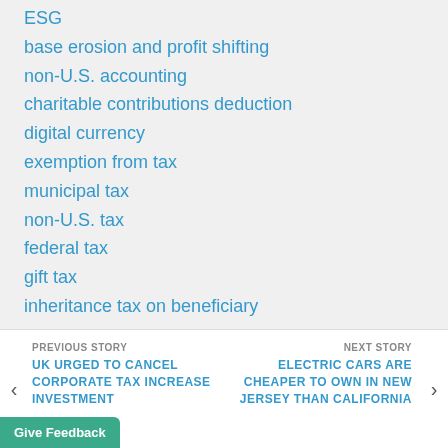ESG
base erosion and profit shifting
non-U.S. accounting
charitable contributions deduction
digital currency
exemption from tax
municipal tax
non-U.S. tax
federal tax
gift tax
inheritance tax on beneficiary
estate tax
Companies
PREVIOUS STORY
UK URGED TO CANCEL CORPORATE TAX INCREASE INVESTMENT
NEXT STORY
ELECTRIC CARS ARE CHEAPER TO OWN IN NEW JERSEY THAN CALIFORNIA